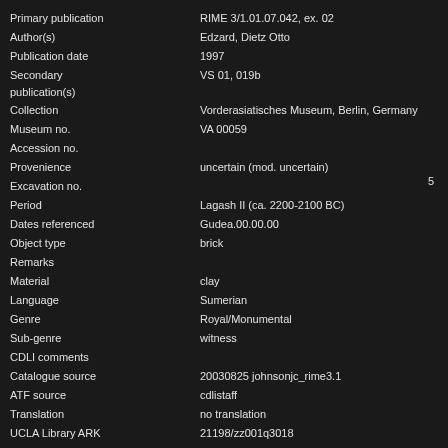| Field | Value |
| --- | --- |
| Primary publication | RIME 3/1.01.07.042, ex. 02 |
| Author(s) | Edzard, Dietz Otto |
| Publication date | 1997 |
| Secondary publication(s) | VS 01, 019b |
| Collection | Vorderasiatisches Museum, Berlin, Germany |
| Museum no. | VA 00059 |
| Accession no. |  |
| Provenience | uncertain (mod. uncertain) |
| Excavation no. |  |
| Period | Lagash II (ca. 2200-2100 BC) |
| Dates referenced | Gudea.00.00.00 |
| Object type | brick |
| Remarks |  |
| Material | clay |
| Language | Sumerian |
| Genre | Royal/Monumental |
| Sub-genre | witness |
| CDLI comments |  |
| Catalogue source | 20030825 johnsonjc_rime3.1 |
| ATF source | cdlistaff |
| Translation | no translation |
| UCLA Library ARK | 21198/zz001q3018 |
| Composite no. | Q000912 |
| Seal no. |  |
| CDLI no. | P234285 |
Can you improve upon the content of this entry?